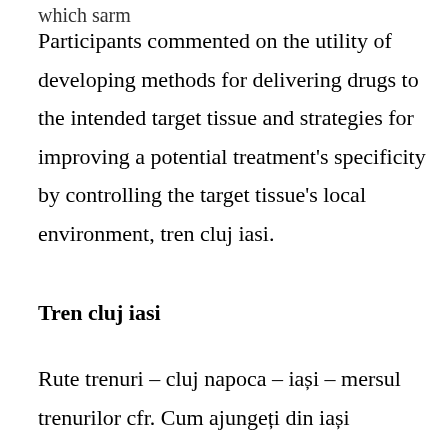which sarm
Participants commented on the utility of developing methods for delivering drugs to the intended target tissue and strategies for improving a potential treatment's specificity by controlling the target tissue's local environment, tren cluj iasi.
Tren cluj iasi
Rute trenuri – cluj napoca – iași – mersul trenurilor cfr. Cum ajungeți din iași (românia)